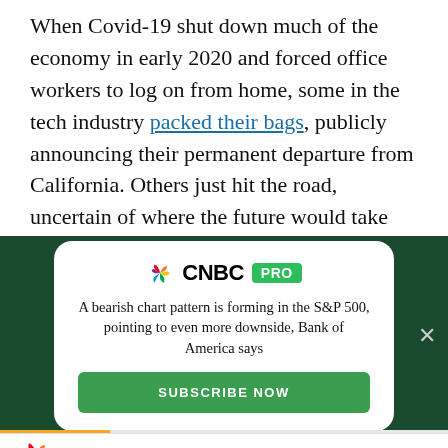When Covid-19 shut down much of the economy in early 2020 and forced office workers to log on from home, some in the tech industry packed their bags, publicly announcing their permanent departure from California. Others just hit the road, uncertain of where the future would take them.
[Figure (screenshot): CNBC PRO advertisement card on dark green background. Headline: 'A bearish chart pattern is forming in the S&P 500, pointing to even more downside, Bank of America says'. Subscribe Now button. Close (X) button in top right.]
CNBC logo with social share icons: Facebook, Twitter, LinkedIn, Email